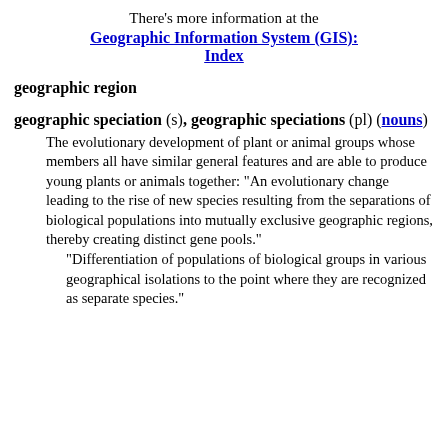There's more information at the
Geographic Information System (GIS): Index
geographic region
geographic speciation (s), geographic speciations (pl) (nouns)
The evolutionary development of plant or animal groups whose members all have similar general features and are able to produce young plants or animals together: "An evolutionary change leading to the rise of new species resulting from the separations of biological populations into mutually exclusive geographic regions, thereby creating distinct gene pools."
"Differentiation of populations of biological groups in various geographical isolations to the point where they are recognized as separate species."